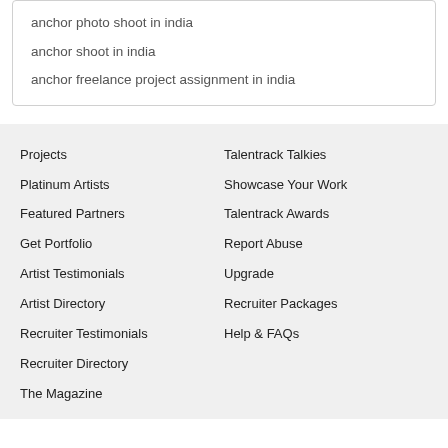anchor photo shoot in india
anchor shoot in india
anchor freelance project assignment in india
Projects
Platinum Artists
Featured Partners
Get Portfolio
Artist Testimonials
Artist Directory
Recruiter Testimonials
Recruiter Directory
The Magazine
Talentrack Talkies
Showcase Your Work
Talentrack Awards
Report Abuse
Upgrade
Recruiter Packages
Help & FAQs